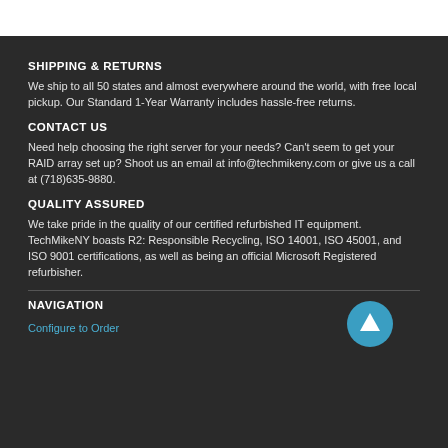SHIPPING & RETURNS
We ship to all 50 states and almost everywhere around the world, with free local pickup. Our Standard 1-Year Warranty includes hassle-free returns.
CONTACT US
Need help choosing the right server for your needs? Can't seem to get your RAID array set up? Shoot us an email at info@techmikeny.com or give us a call at (718)635-9880.
QUALITY ASSURED
We take pride in the quality of our certified refurbished IT equipment. TechMikeNY boasts R2: Responsible Recycling, ISO 14001, ISO 45001, and ISO 9001 certifications, as well as being an official Microsoft Registered refurbisher.
NAVIGATION
Configure to Order